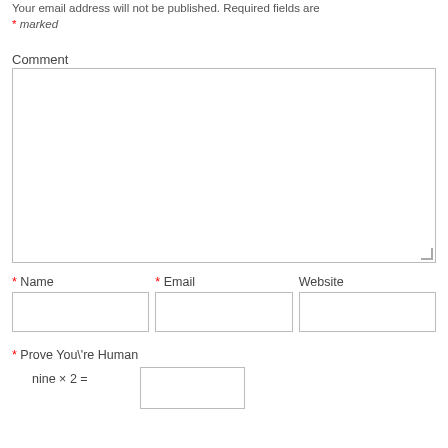Your email address will not be published. Required fields are * marked
Comment
[Figure (other): Large empty comment textarea with resize handle]
* Name   * Email   Website
[Figure (other): Three input fields for Name, Email, Website]
* Prove You\'re Human
nine × 2 =
[Figure (other): Small input box for captcha answer]